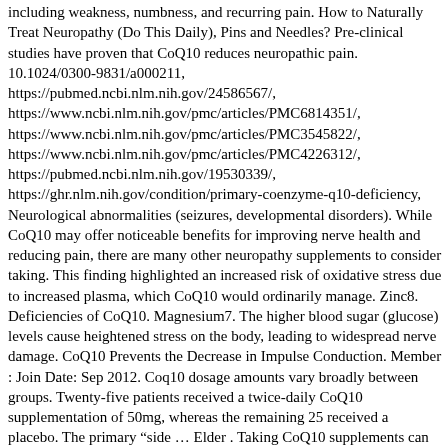including weakness, numbness, and recurring pain. How to Naturally Treat Neuropathy (Do This Daily), Pins and Needles? Pre-clinical studies have proven that CoQ10 reduces neuropathic pain. 10.1024/0300-9831/a000211, https://pubmed.ncbi.nlm.nih.gov/24586567/, https://www.ncbi.nlm.nih.gov/pmc/articles/PMC6814351/, https://www.ncbi.nlm.nih.gov/pmc/articles/PMC3545822/, https://www.ncbi.nlm.nih.gov/pmc/articles/PMC4226312/, https://pubmed.ncbi.nlm.nih.gov/19530339/, https://ghr.nlm.nih.gov/condition/primary-coenzyme-q10-deficiency, Neurological abnormalities (seizures, developmental disorders). While CoQ10 may offer noticeable benefits for improving nerve health and reducing pain, there are many other neuropathy supplements to consider taking. This finding highlighted an increased risk of oxidative stress due to increased plasma, which CoQ10 would ordinarily manage. Zinc8. Deficiencies of CoQ10. Magnesium7. The higher blood sugar (glucose) levels cause heightened stress on the body, leading to widespread nerve damage. CoQ10 Prevents the Decrease in Impulse Conduction. Member : Join Date: Sep 2012. Coq10 dosage amounts vary broadly between groups. Twenty-five patients received a twice-daily CoQ10 supplementation of 50mg, whereas the remaining 25 received a placebo. The primary “side … Elder . Taking CoQ10 supplements can help increase your CoQ10 levels and may reduce statin side effects. It promotes the health of the mitochondria within your cells. One of these treatments is CoQ10. Your peripheral nervous system and central nervous system work in tandem to keep your body functioning. There are many positive effects that CoQ10 supplementation can have on the body. 1 thank. Some people have a lower CoQ10 deficiency due to genetic Gi...